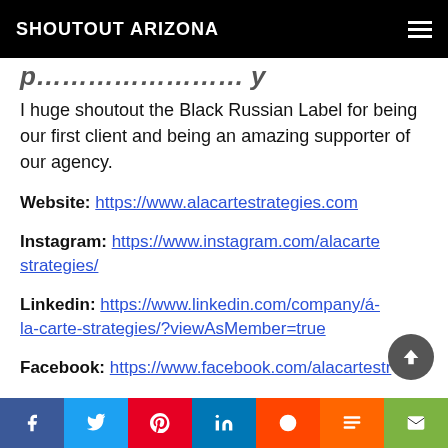SHOUTOUT ARIZONA
…proucing our agency.
I huge shoutout the Black Russian Label for being our first client and being an amazing supporter of our agency.
Website: https://www.alacartestrategies.com
Instagram: https://www.instagram.com/alacartestrategies/
Linkedin: https://www.linkedin.com/company/á-la-carte-strategies/?viewAsMember=true
Facebook: https://www.facebook.com/alacartestrategies